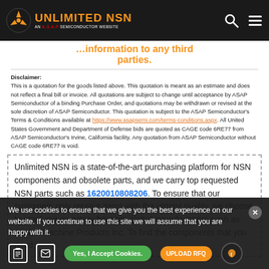UNLIMITED NSN — AN A.S.A.P SEMICONDUCTOR WEBSITE
...information to any third parties.
Disclaimer: This is a quotation for the goods listed above. This quotation is meant as an estimate and does not reflect a final bill or invoice. All quotations are subject to change until acceptance by ASAP Semiconductor of a binding Purchase Order, and quotations may be withdrawn or revised at the sole discretion of ASAP Semiconductor. This quotation is subject to the ASAP Semiconductor's Terms & Conditions available at https://www.asapsemi.com/terms-conditions.aspx. All United States Government and Department of Defense bids are quoted as CAGE code 6RE77 from ASAP Semiconductor's Irvine, California facility. Any quotation from ASAP Semiconductor without CAGE code 6RE77 is void.
Unlimited NSN is a state-of-the-art purchasing platform for NSN components and obsolete parts, and we carry top requested NSN parts such as 1620010808206. To ensure that our customers only receive items with the utmost quality, we choose to stock our inventory from top global manufacturers such as Avalon Machine Products Inc. To find the components that you need...
We use cookies to ensure that we give you the best experience on our website. If you continue to use this site we will assume that you are happy with it.